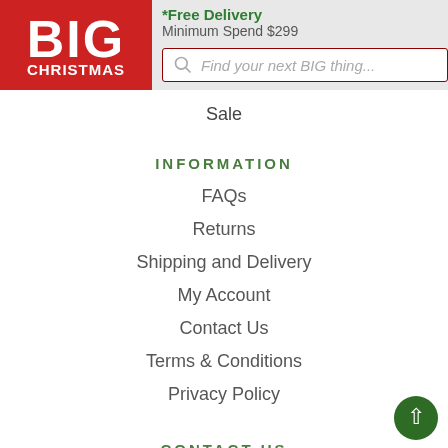[Figure (logo): BIG CHRISTMAS logo — red background, white bold text 'BIG' large and 'CHRISTMAS' below in smaller caps]
*Free Delivery
Minimum Spend $299
Find your next BIG thing...
Sale
INFORMATION
FAQs
Returns
Shipping and Delivery
My Account
Contact Us
Terms & Conditions
Privacy Policy
CONTACT US
help@bigchristmas.com.au